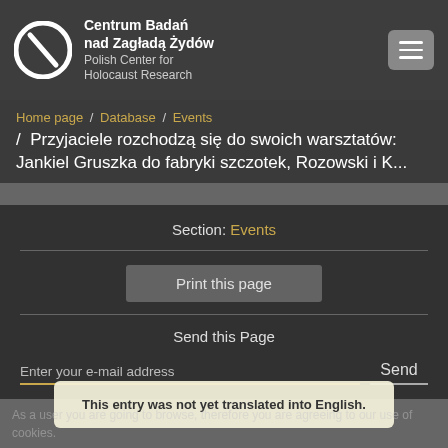[Figure (logo): Centrum Badań nad Zagładą Żydów circular logo in white]
Centrum Badań nad Zagładą Żydów
Polish Center for Holocaust Research
Home page / Database / Events / Przyjaciele rozchodzą się do swoich warsztatów: Jankiel Gruszka do fabryki szczotek, Rozowski i K...
Section: Events
Print this page
Send this Page
Enter your e-mail address
Send
This entry was not yet translated into English.
As a user you are going to browse, therefore you are agreeing to our use of cookies.